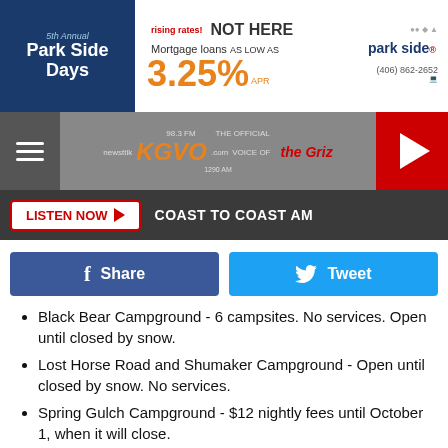[Figure (screenshot): Top banner advertisement for 5th Annual Park Side Days and Park Side Credit Union mortgage loans at 3.25% APR, phone (406) 862-2652]
[Figure (screenshot): KGVO radio station nav bar with hamburger menu, KGVO logo, Griz logo, and red play button]
[Figure (screenshot): Dark bar with LISTEN NOW button and COAST TO COAST AM text]
[Figure (screenshot): Facebook Share and Twitter Tweet social sharing buttons]
Black Bear Campground - 6 campsites. No services. Open until closed by snow.
Lost Horse Road and Shumaker Campground - Open until closed by snow. No services.
Spring Gulch Campground - $12 nightly fees until October 1, when it will close.
Indian Trees Campground - $10 nightly fees until Closure October 1.
Ma[roon Creek] ... no fees un[til ...]
[Figure (screenshot): Bottom overlay advertisement with CVS Pharmacy logo and map direction diamond icon, with play and X (Twitter) icons]